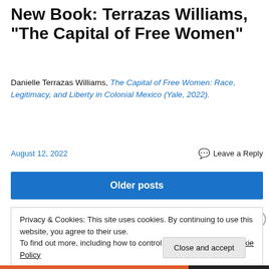New Book: Terrazas Williams, “The Capital of Free Women”
Danielle Terrazas Williams, The Capital of Free Women: Race, Legitimacy, and Liberty in Colonial Mexico (Yale, 2022).
August 12, 2022    Leave a Reply
Older posts
Privacy & Cookies: This site uses cookies. By continuing to use this website, you agree to their use.
To find out more, including how to control cookies, see here: Cookie Policy
Close and accept